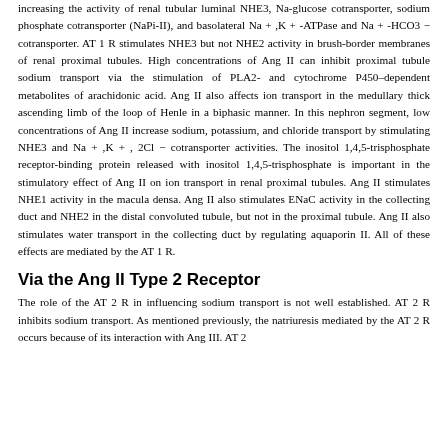increasing the activity of renal tubular luminal NHE3, Na-glucose cotransporter, sodium phosphate cotransporter (NaPi-II), and basolateral Na + ,K + -ATPase and Na + -HCO3 − cotransporter. AT 1 R stimulates NHE3 but not NHE2 activity in brush-border membranes of renal proximal tubules. High concentrations of Ang II can inhibit proximal tubule sodium transport via the stimulation of PLA2- and cytochrome P450–dependent metabolites of arachidonic acid. Ang II also affects ion transport in the medullary thick ascending limb of the loop of Henle in a biphasic manner. In this nephron segment, low concentrations of Ang II increase sodium, potassium, and chloride transport by stimulating NHE3 and Na + ,K + , 2Cl − cotransporter activities. The inositol 1,4,5-trisphosphate receptor-binding protein released with inositol 1,4,5-trisphosphate is important in the stimulatory effect of Ang II on ion transport in renal proximal tubules. Ang II stimulates NHE1 activity in the macula densa. Ang II also stimulates ENaC activity in the collecting duct and NHE2 in the distal convoluted tubule, but not in the proximal tubule. Ang II also stimulates water transport in the collecting duct by regulating aquaporin II. All of these effects are mediated by the AT 1 R.
Via the Ang II Type 2 Receptor
The role of the AT 2 R in influencing sodium transport is not well established. AT 2 R inhibits sodium transport. As mentioned previously, the natriuresis mediated by the AT 2 R occurs because of its interaction with Ang III. AT 2